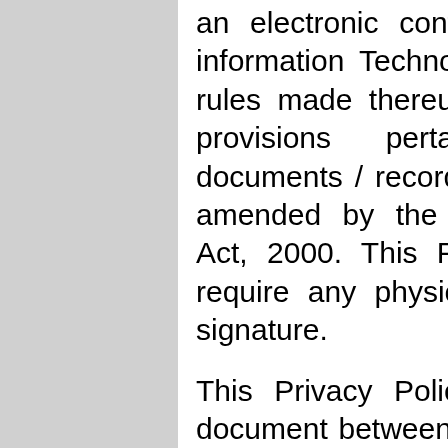an electronic contract formed under the information Technology Act, 2000 and the rules made thereunder and the amended provisions pertaining to electronic documents / records in various statutes as amended by the information Technology Act, 2000. This Privacy Policy does not require any physical, electronic or digital signature.
This Privacy Policy is a legally binding document between you and Rajasthan Jat Mahasabha.. (both terms defined below). The terms of this Privacy Policy will be effective upon your acceptance